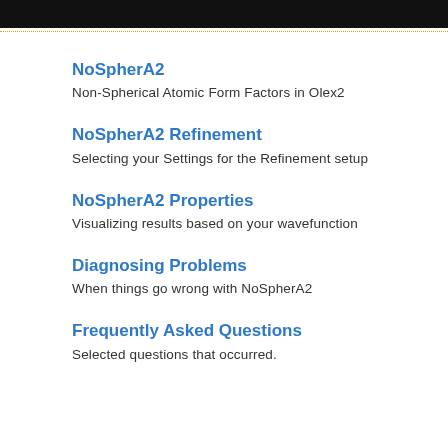[Figure (screenshot): Dark header bar at top of page with small orange/red icon visible]
NoSpherA2
Non-Spherical Atomic Form Factors in Olex2
NoSpherA2 Refinement
Selecting your Settings for the Refinement setup
NoSpherA2 Properties
Visualizing results based on your wavefunction
Diagnosing Problems
When things go wrong with NoSpherA2
Frequently Asked Questions
Selected questions that occurred.